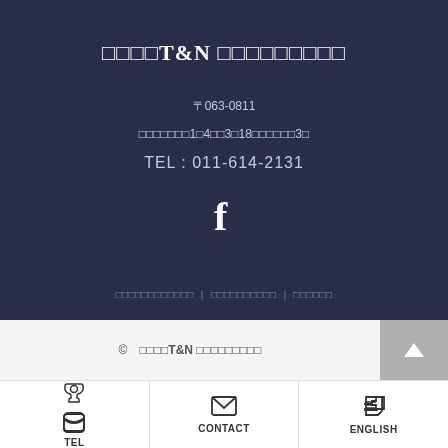□□□□T&N □□□□□□□□□
〒063-0811
□□□□□□□1□4□□3□18□□□□□□3□
TEL : 011-614-2131
[Figure (illustration): Facebook icon (f)]
□□□□□□□□□□□□ | □□□□□□□□□□ | □□□□□□
© □□□□T&N □□□□□□□□□
TEL
CONTACT
ENGLISH